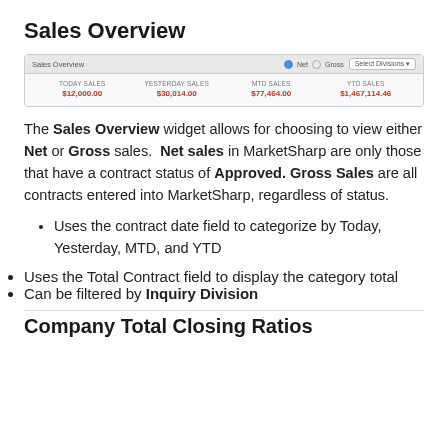Sales Overview
[Figure (screenshot): Screenshot of the Sales Overview widget showing Today Sales $12,000.00, Yesterday Sales $30,014.00, MTD Sales $77,464.00, YTD Sales $1,467,114.46]
The Sales Overview widget allows for choosing to view either Net or Gross sales. Net sales in MarketSharp are only those that have a contract status of Approved. Gross Sales are all contracts entered into MarketSharp, regardless of status.
Uses the contract date field to categorize by Today, Yesterday, MTD, and YTD
Uses the Total Contract field to display the category total
Can be filtered by Inquiry Division
Company Total Closing Ratios